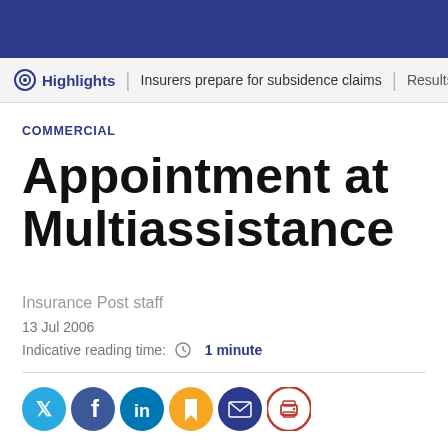Highlights | Insurers prepare for subsidence claims | Results di
COMMERCIAL
Appointment at Multiassistance
Insurance Post staff
13 Jul 2006
Indicative reading time: 1 minute
[Figure (other): Social sharing icons: Twitter, Facebook, LinkedIn, Bookmark, Email, Print]